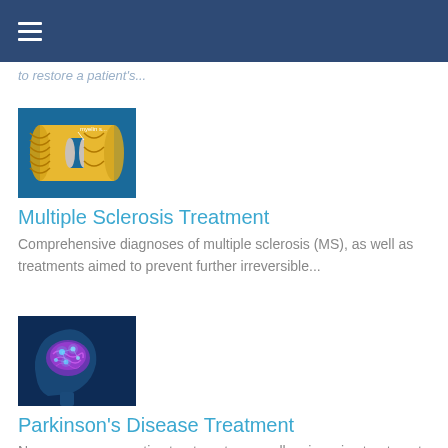≡
to restore a patient's...
[Figure (illustration): Illustration of a myelin sheath on a nerve fiber with label 'myelin s...']
Multiple Sclerosis Treatment
Comprehensive diagnoses of multiple sclerosis (MS), as well as treatments aimed to prevent further irreversible...
[Figure (illustration): Digital illustration of a human head in profile with glowing brain highlighted in purple/pink]
Parkinson's Disease Treatment
Numerous conservative treatments, as well as invasive treatment